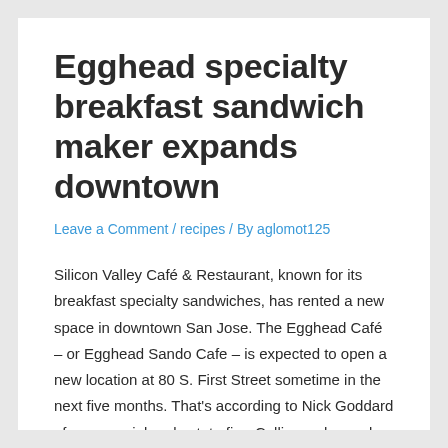Egghead specialty breakfast sandwich maker expands downtown
Leave a Comment / recipes / By aglomot125
Silicon Valley Café & Restaurant, known for its breakfast specialty sandwiches, has rented a new space in downtown San Jose. The Egghead Café – or Egghead Sando Cafe – is expected to open a new location at 80 S. First Street sometime in the next five months. That's according to Nick Goddard of commercial real estate firm Colliers, who spoke to Mercury News. Goddard arranged a new Egged lease for the 2,500-square-foot space. Express Deli from Zanotto was the newest tenant on site.